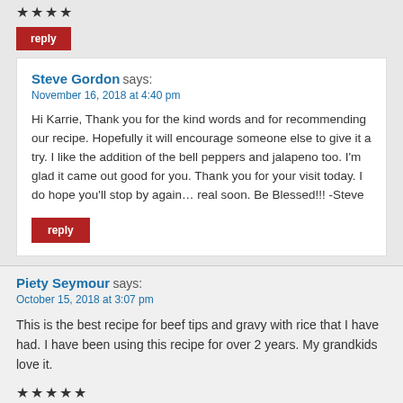★★★★
reply
Steve Gordon says:
November 16, 2018 at 4:40 pm
Hi Karrie, Thank you for the kind words and for recommending our recipe. Hopefully it will encourage someone else to give it a try. I like the addition of the bell peppers and jalapeno too. I'm glad it came out good for you. Thank you for your visit today. I do hope you'll stop by again… real soon. Be Blessed!!! -Steve
reply
Piety Seymour says:
October 15, 2018 at 3:07 pm
This is the best recipe for beef tips and gravy with rice that I have had. I have been using this recipe for over 2 years. My grandkids love it.
★★★★★